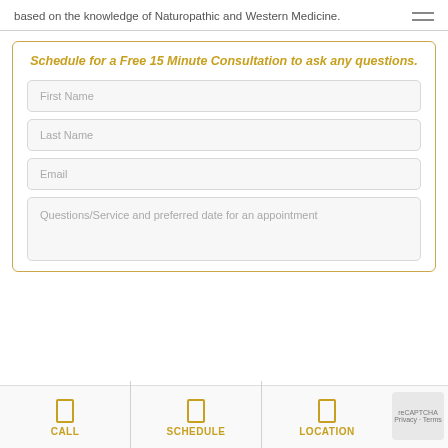based on the knowledge of Naturopathic and Western Medicine.
Schedule for a Free 15 Minute Consultation to ask any questions.
First Name
Last Name
Email
Questions/Service and preferred date for an appointment
CALL
SCHEDULE
LOCATION